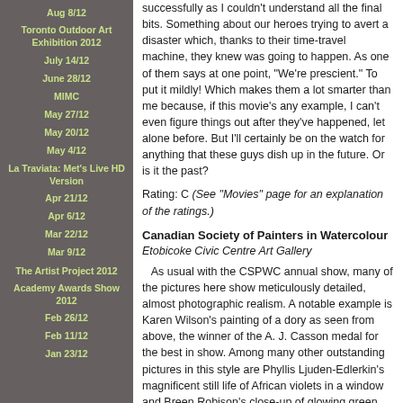Aug 8/12
Toronto Outdoor Art Exhibition 2012
July 14/12
June 28/12
MIMC
May 27/12
May 20/12
May 4/12
La Traviata: Met's Live HD Version
Apr 21/12
Apr 6/12
Mar 22/12
Mar 9/12
The Artist Project 2012
Academy Awards Show 2012
Feb 26/12
Feb 11/12
Jan 23/12
successfully as I couldn't understand all the final bits. Something about our heroes trying to avert a disaster which, thanks to their time-travel machine, they knew was going to happen. As one of them says at one point, "We're prescient." To put it mildly! Which makes them a lot smarter than me because, if this movie's any example, I can't even figure things out after they've happened, let alone before. But I'll certainly be on the watch for anything that these guys dish up in the future. Or is it the past?
Rating: C (See "Movies" page for an explanation of the ratings.)
Canadian Society of Painters in Watercolour
Etobicoke Civic Centre Art Gallery
As usual with the CSPWC annual show, many of the pictures here show meticulously detailed, almost photographic realism. A notable example is Karen Wilson's painting of a dory as seen from above, the winner of the A. J. Casson medal for the best in show. Among many other outstanding pictures in this style are Phyllis Ljuden-Edlerkin's magnificent still life of African violets in a window and Breen Robison's close-up of glowing green moss on tree branches. One gets the impression that many of these artists are, or could be, top-